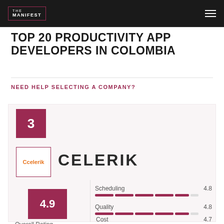THE MANIFEST
TOP 20 PRODUCTIVITY APP DEVELOPERS IN COLOMBIA
NEED HELP SELECTING A COMPANY?
3
[Figure (logo): Celerik company logo with orange C icon and text]
CELERIK
4.9
Overall Rating
Scheduling 4.8
Quality 4.8
Cost 4.7